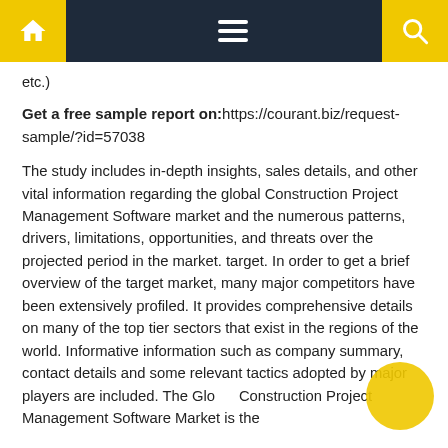Navigation bar with home, menu, and search icons
etc.)
Get a free sample report on:https://courant.biz/request-sample/?id=57038
The study includes in-depth insights, sales details, and other vital information regarding the global Construction Project Management Software market and the numerous patterns, drivers, limitations, opportunities, and threats over the projected period in the market. target. In order to get a brief overview of the target market, many major competitors have been extensively profiled. It provides comprehensive details on many of the top tier sectors that exist in the regions of the world. Informative information such as company summary, contact details and some relevant tactics adopted by major players are included. The Global Construction Project Management Software Market is the